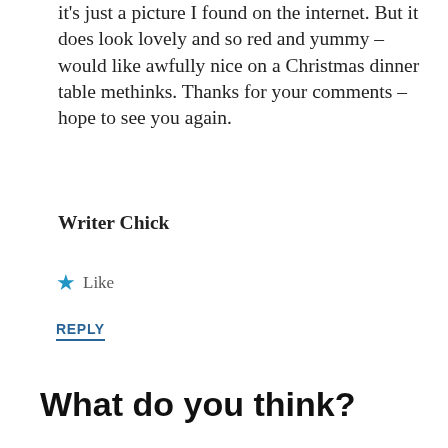it's just a picture I found on the internet. But it does look lovely and so red and yummy – would like awfully nice on a Christmas dinner table methinks. Thanks for your comments – hope to see you again.
Writer Chick
★ Like
REPLY
What do you think?
Privacy & Cookies: This site uses cookies. By continuing to use this website, you agree to their use.
To find out more, including how to control cookies, see here: Cookie Policy
Close and accept